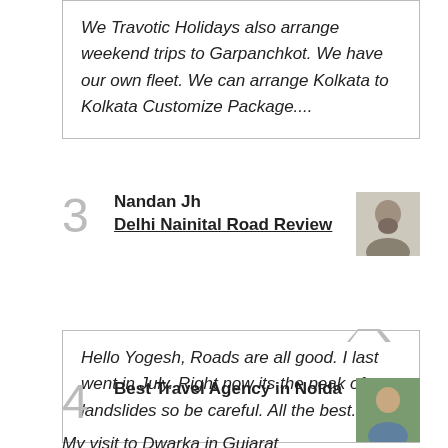We Travotic Holidays also arrange weekend trips to Garpanchkot. We have our own fleet. We can arrange Kolkata to Kolkata Customize Package....
3 Nandan Jh Delhi Nainital Road Review
Hello Yogesh, Roads are all good. I last went in July. Right now its the peak of landslides so be careful. All the best.
4 Best Travel Agency in Noida
My visit to Dwarka in Gujarat